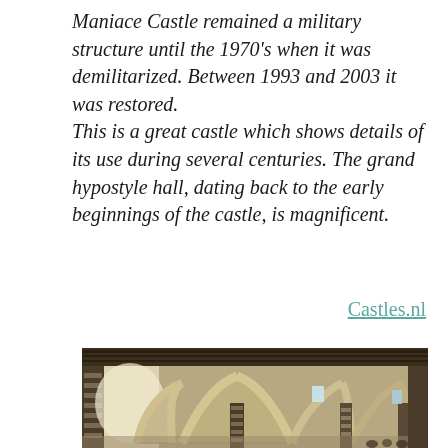Maniace Castle remained a military structure until the 1970's when it was demilitarized. Between 1993 and 2003 it was restored. This is a great castle which shows details of its use during several centuries. The grand hypostyle hall, dating back to the early beginnings of the castle, is magnificent.
Castles.nl
[Figure (photo): Interior of Maniace Castle showing the grand hypostyle hall with Gothic arched vaults, striped stone columns, and stone walls. Natural light enters through small windows in the background.]